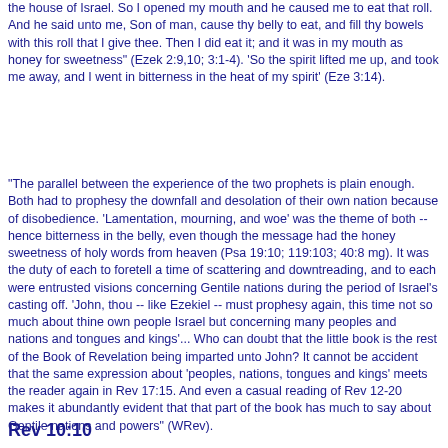the house of Israel. So I opened my mouth and he caused me to eat that roll. And he said unto me, Son of man, cause thy belly to eat, and fill thy bowels with this roll that I give thee. Then I did eat it; and it was in my mouth as honey for sweetness" (Ezek 2:9,10; 3:1-4). 'So the spirit lifted me up, and took me away, and I went in bitterness in the heat of my spirit' (Eze 3:14).
"The parallel between the experience of the two prophets is plain enough. Both had to prophesy the downfall and desolation of their own nation because of disobedience. 'Lamentation, mourning, and woe' was the theme of both -- hence bitterness in the belly, even though the message had the honey sweetness of holy words from heaven (Psa 19:10; 119:103; 40:8 mg). It was the duty of each to foretell a time of scattering and downtreading, and to each were entrusted visions concerning Gentile nations during the period of Israel's casting off. 'John, thou -- like Ezekiel -- must prophesy again, this time not so much about thine own people Israel but concerning many peoples and nations and tongues and kings'... Who can doubt that the little book is the rest of the Book of Revelation being imparted unto John? It cannot be accident that the same expression about 'peoples, nations, tongues and kings' meets the reader again in Rev 17:15. And even a casual reading of Rev 12-20 makes it abundantly evident that that part of the book has much to say about Gentile nations and powers" (WRev).
Rev 10:10